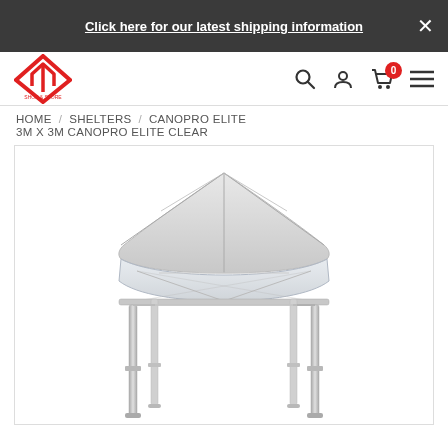Click here for our latest shipping information
[Figure (logo): Shop & Store logo — red diamond shape with upward arrow]
HOME / SHELTERS / CANOPRO ELITE
3M X 3M CANOPRO ELITE CLEAR
[Figure (photo): 3M x 3M CanoPro Elite Clear canopy/gazebo tent with white/clear top and silver metal frame legs, shown on white background]